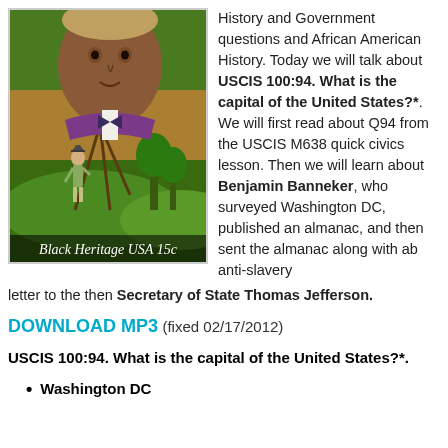[Figure (illustration): Black Heritage USA 15c postage stamp showing Benjamin Banneker portrait and a surveyor figure with tripod in a landscape with trees and hills]
History and Government questions and African American History. Today we will talk about USCIS 100:94. What is the capital of the United States?*. We will first read about Q94 from the USCIS M638 quick civics lesson. Then we will learn about Benjamin Banneker, who surveyed Washington DC, published an almanac, and then sent the almanac along with ab anti-slavery letter to the then Secretary of State Thomas Jefferson.
DOWNLOAD MP3 (fixed 02/17/2012)
USCIS 100:94. What is the capital of the United States?*.
Washington DC